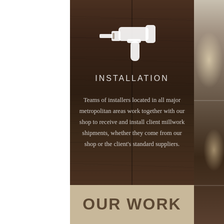[Figure (illustration): White drill/screwgun icon on dark wood background]
INSTALLATION
Teams of installers located in all major metropolitan areas work together with our shop to receive and install client millwork shipments, whether they come from our shop or the client's standard suppliers.
OUR WORK